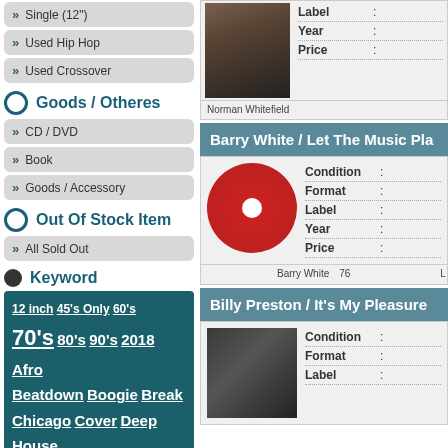Single (12")
Used Hip Hop
Used Crossover
Goods / Otheres
CD / DVD
Book
Goods / Accessory
Out Of Stock Item
All Sold Out
Keyword
12 inch  45's Only  60's  70's  80's  90's  2018  Afro  Beatdown  Boogie  Break  Chicago  Cover  Deep House
[Figure (photo): Portrait photo of Norman Whitefield]
Label : Year : Price :
Norman Whitefield
Barry White / Let The Music Pla
[Figure (photo): Red vinyl 7-inch single record]
Condition : Format : Label : Year : Price :
Barry White 76
Billy Preston / It's My Pleasure
[Figure (photo): Album cover for Billy Preston - It's My Pleasure]
Condition : Format : Label :